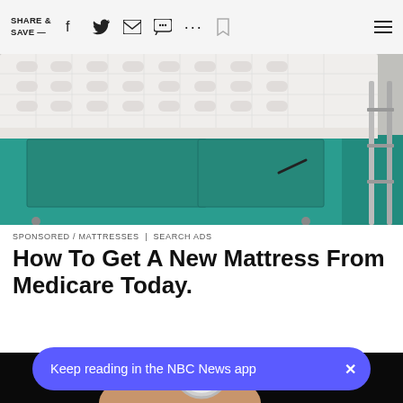SHARE & SAVE —
[Figure (photo): White quilted mattress on a teal/turquoise divan bed base, corner view showing storage drawer with handle]
SPONSORED / MATTRESSES | SEARCH ADS
How To Get A New Mattress From Medicare Today.
[Figure (photo): Close-up of a hand holding a round compact mirror or similar reflective circular object against a dark/black background]
Keep reading in the NBC News app